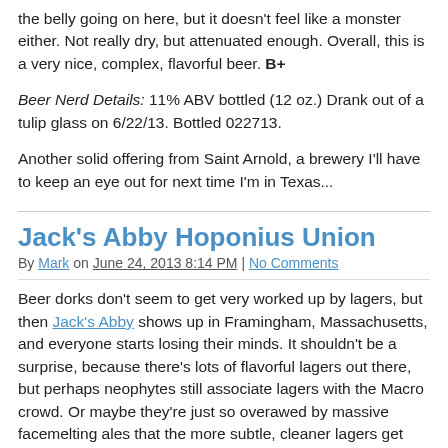the belly going on here, but it doesn't feel like a monster either. Not really dry, but attenuated enough. Overall, this is a very nice, complex, flavorful beer. B+
Beer Nerd Details: 11% ABV bottled (12 oz.) Drank out of a tulip glass on 6/22/13. Bottled 022713.
Another solid offering from Saint Arnold, a brewery I'll have to keep an eye out for next time I'm in Texas...
Jack's Abby Hoponius Union
By Mark on June 24, 2013 8:14 PM | No Comments
Beer dorks don't seem to get very worked up by lagers, but then Jack's Abby shows up in Framingham, Massachusetts, and everyone starts losing their minds. It shouldn't be a surprise, because there's lots of flavorful lagers out there, but perhaps neophytes still associate lagers with the Macro crowd. Or maybe they're just so overawed by massive facemelting ales that the more subtle, cleaner lagers get lost in the shuffle. Whatever the case, there's a lot of room in the market for breweries that take the road less traveled. From what I can see, Jack's Abby is